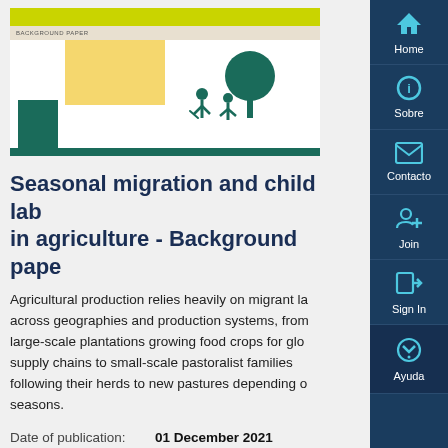[Figure (illustration): Cover image of a FAO background paper document showing a teal/green and yellow design with silhouettes of a person and trees]
Seasonal migration and child labour in agriculture - Background paper
Agricultural production relies heavily on migrant labour across geographies and production systems, from large-scale plantations growing food crops for global supply chains to small-scale pastoralist families following their herds to new pastures depending on seasons.
Date of publication: 01 December 2021
Source: Food and Agriculture Organization (
Information Type: Policy Brief
[Figure (screenshot): Small thumbnail of FAO Academy document page]